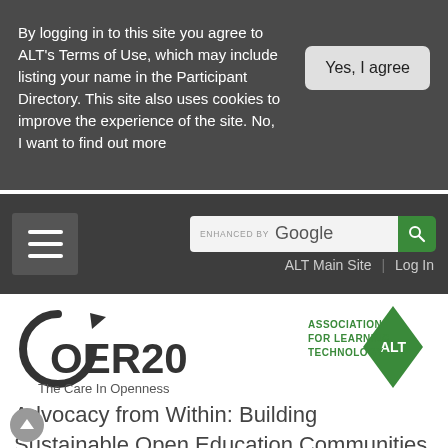By logging in to this site you agree to ALT's Terms of Use, which may include listing your name in the Participant Directory. This site also uses cookies to improve the experience of the site. No, I want to find out more
Yes, I agree
[Figure (screenshot): Navigation bar with hamburger menu icon on left and enhanced by Google search box on right with green search button]
ALT Main Site | Log In
[Figure (logo): OER20 logo with circular arrow and text 'The Care In Openness']
[Figure (logo): Association for Learning Technology (ALT) diamond logo with green background]
Advocacy from Within: Building Sustainable Open Education Communities Across the